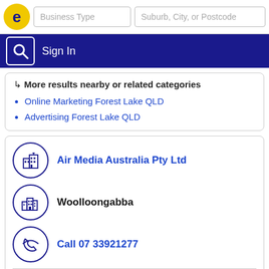Business Type | Suburb, City, or Postcode | Sign In
↳ More results nearby or related categories
Online Marketing Forest Lake QLD
Advertising Forest Lake QLD
Air Media Australia Pty Ltd
Woolloongabba
Call 07 33921277
Advertising - Media Representation
211 Logan Rd, Woolloongabba - QLD 4102